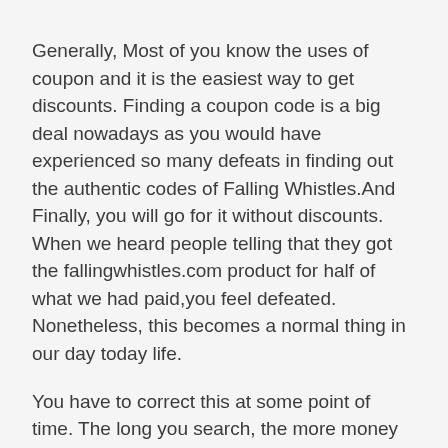Generally, Most of you know the uses of coupon and it is the easiest way to get discounts. Finding a coupon code is a big deal nowadays as you would have experienced so many defeats in finding out the authentic codes of Falling Whistles.And Finally, you will go for it without discounts. When we heard people telling that they got the fallingwhistles.com product for half of what we had paid,you feel defeated. Nonetheless, this becomes a normal thing in our day today life.
You have to correct this at some point of time. The long you search, the more money goes off. The optimal solution is to find the right Website through which you can be provided with right coupon codes.
Why to waste your hard earned money in getting fallingwhistles.com products when the same product is available with up to 75 percent of discount. Finding the coupon is quite tedious since despite the fact that